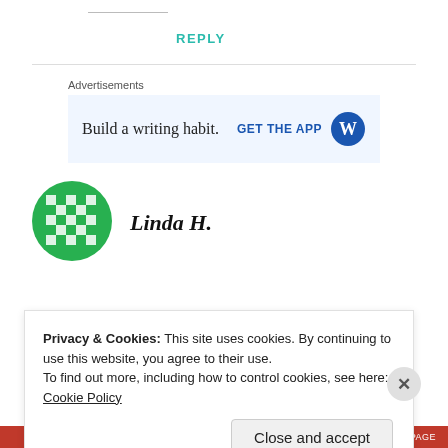— (horizontal rule divider)
REPLY
Advertisements
[Figure (screenshot): WordPress ad banner: 'Build a writing habit.' with GET THE APP button and WordPress logo]
[Figure (illustration): Green avatar icon with checkerboard pattern for user Linda H.]
Linda H.
Privacy & Cookies: This site uses cookies. By continuing to use this website, you agree to their use.
To find out more, including how to control cookies, see here: Cookie Policy
Close and accept